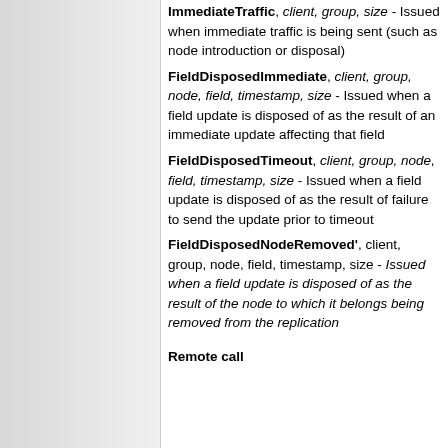ImmediateTraffic, client, group, size - Issued when immediate traffic is being sent (such as node introduction or disposal)
FieldDisposedImmediate, client, group, node, field, timestamp, size - Issued when a field update is disposed of as the result of an immediate update affecting that field
FieldDisposedTimeout, client, group, node, field, timestamp, size - Issued when a field update is disposed of as the result of failure to send the update prior to timeout
FieldDisposedNodeRemoved', client, group, node, field, timestamp, size - Issued when a field update is disposed of as the result of the node to which it belongs being removed from the replication
Remote call